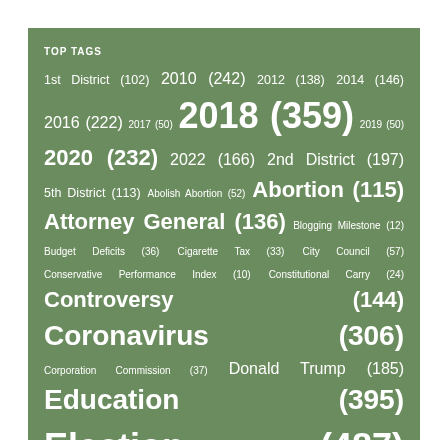TOP TAGS
1st District (102) 2010 (242) 2012 (138) 2014 (146) 2016 (222) 2017 (50) 2018 (359) 2019 (50) 2020 (232) 2022 (166) 2nd District (197) 5th District (113) Abolish Abortion (52) Abortion (115) Attorney General (136) Blogging Milestone (12) Budget Deficits (36) Cigarette Tax (33) City Council (57) Conservative Performance Index (10) Constitutional Carry (24) Controversy (144) Coronavirus (306) Corporation Commission (37) Donald Trump (185) Education (395) Election (487) Election Results Map (77) Endorsement (312) Ethics Reports (57) Fallin Tax Hike (105) Government Spending (270) Governor (155) Gubernatorial Race (166) Gun Rights (88) Health Care (225) Health Care Sharing (15) Israel (65) James Lankford (201) Jim Inhofe (121) Judges (47) Kendra Horn (66) Kevin Hern (101) Legislative Session (350) Lieutenant Governor (70) Map